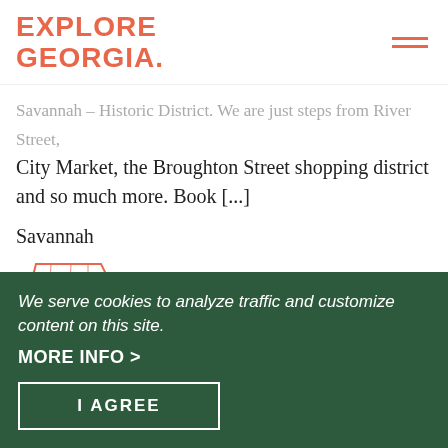EXPLORE GEORGIA
Savannah – Historic District. We are just steps from River Street, City Market, the Broughton Street shopping district and so much more. Book [...]
Savannah
[Figure (map): Outline map of Georgia with counties shown, southeastern county highlighted in coral/orange color]
We serve cookies to analyze traffic and customize content on this site.
MORE INFO >
I AGREE